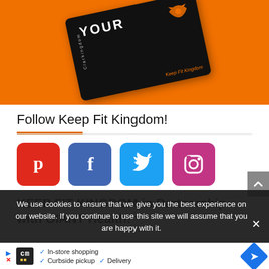[Figure (photo): Promotional image with orange background and a black card/booklet with Keep Fit Kingdom branding, showing partial text 'YOUR' and an orange eagle logo]
Follow Keep Fit Kingdom!
[Figure (infographic): Four social media icons: Pinterest (red), Facebook (blue), Twitter (light blue), Instagram (pink/magenta)]
KEEP FIT KINGDOM in Partnership with GIANT Health!
We use cookies to ensure that we give you the best experience on our website. If you continue to use this site we will assume that you are happy with it.
[Figure (infographic): Advertisement banner with cm logo, checkmarks for In-store shopping, Curbside pickup, Delivery, and a blue diamond direction arrow]